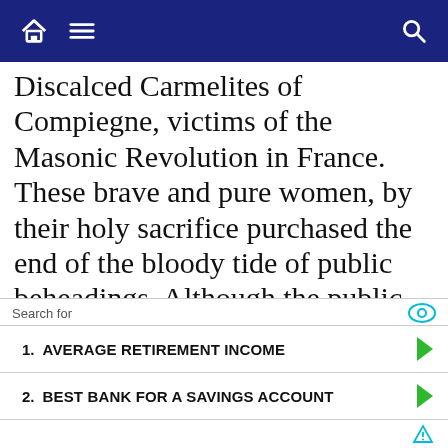[navigation bar with home, menu, and search icons]
Discalced Carmelites of Compiegne, victims of the Masonic Revolution in France. These brave and pure women, by their holy sacrifice purchased the end of the bloody tide of public beheadings. Although the public display of gory beheadings had run its course. the Satanic
Search for
1. AVERAGE RETIREMENT INCOME
2. BEST BANK FOR A SAVINGS ACCOUNT